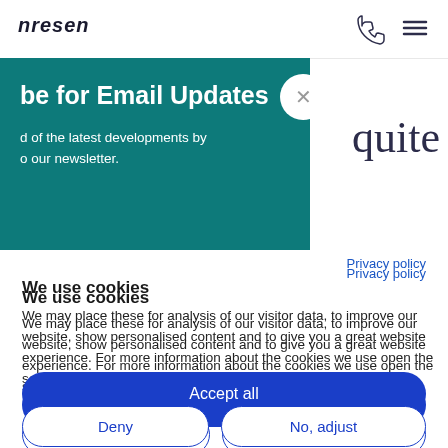[Figure (screenshot): Website navigation bar with logo and icons (phone and hamburger menu)]
[Figure (screenshot): Teal popup modal partially visible, titled 'be for Email Updates' with close button (X), text about newsletter subscription]
quite
Privacy policy
We use cookies
We may place these for analysis of our visitor data, to improve our website, show personalised content and to give you a great website experience. For more information about the cookies we use open the settings.
Accept all
Deny
No, adjust